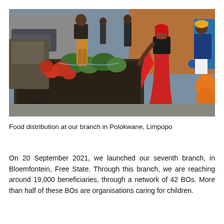[Figure (photo): People unloading and distributing fresh vegetables and produce from the back of a pickup truck on a street. A woman in a red outfit and red head covering is receiving goods. Another person in blue gloves holds papers. Workers are masked. Bags of oranges visible on the right.]
Food distribution at our branch in Polokwane, Limpopo
On 20 September 2021, we launched our seventh branch, in Bloemfontein, Free State. Through this branch, we are reaching around 19,000 beneficiaries, through a network of 42 BOs. More than half of these BOs are organisations caring for children.